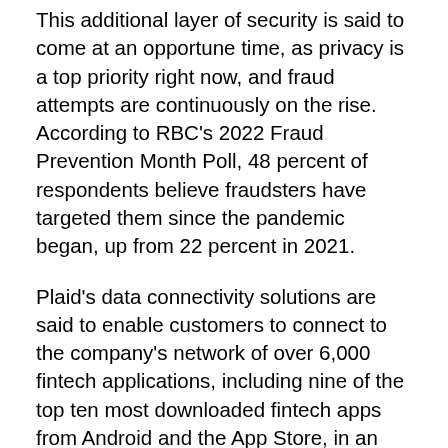This additional layer of security is said to come at an opportune time, as privacy is a top priority right now, and fraud attempts are continuously on the rise. According to RBC's 2022 Fraud Prevention Month Poll, 48 percent of respondents believe fraudsters have targeted them since the pandemic began, up from 22 percent in 2021.
Plaid's data connectivity solutions are said to enable customers to connect to the company's network of over 6,000 fintech applications, including nine of the top ten most downloaded fintech apps from Android and the App Store, in an easy and secure manner. Consumers will be able to access various financial wellness applications using these Plaid-powered tools. In addition to the RBC Digital Banking Security Guarantee, RBC clients will benefit from a variety of digital security tools such as PIN on Mobile, ID Verification, 2-Step Verification, Card Lock, two-way fraud alerts and more details...